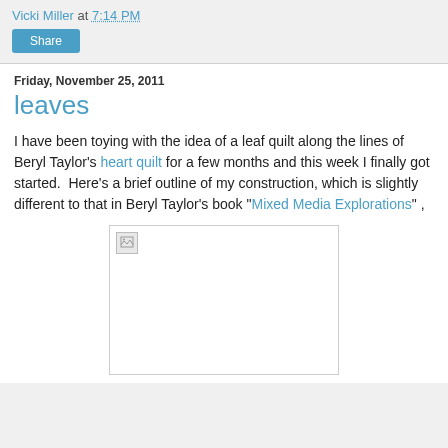Vicki Miller at 7:14 PM
Share
Friday, November 25, 2011
leaves
I have been toying with the idea of a leaf quilt along the lines of Beryl Taylor's heart quilt for a few months and this week I finally got started.  Here's a brief outline of my construction, which is slightly different to that in Beryl Taylor's book "Mixed Media Explorations" ,
[Figure (photo): Broken/unloaded image placeholder with small image icon in top-left corner, white background with gray border]